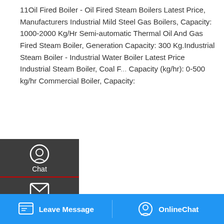11Oil Fired Boiler - Oil Fired Steam Boilers Latest Price, Manufacturers Industrial Mild Steel Gas Boilers, Capacity: 1000-2000 Kg/Hr Semi-automatic Thermal Oil And Gas Fired Steam Boiler, Generation Capacity: 300 Kg.Industrial Steam Boiler - Industrial Water Boiler Latest Price Industrial Steam Boiler, Coal F... Capacity (kg/hr): 0-500 kg/hr Commercial Boiler, Capacity:
[Figure (screenshot): Left sidebar overlay with Chat, Email, Contact options; Get a Quote button; scroll-to-top arrow button; WhatsApp sticker promo overlay; industrial boiler image; blue bottom bar with Leave Message and OnlineChat buttons]